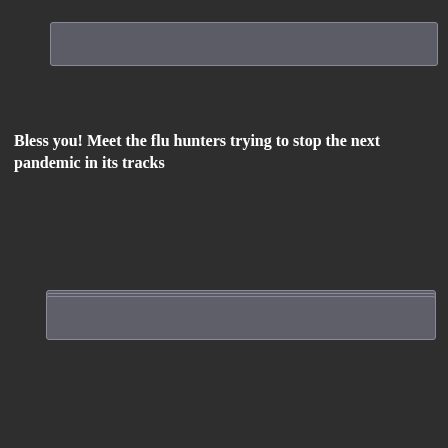[Figure (other): Gray rounded rectangle bar/placeholder image strip at top]
Bless you! Meet the flu hunters trying to stop the next pandemic in its tracks
[Figure (other): Gray rounded rectangle bar/placeholder image strip]
[Figure (other): Gray rounded rectangle bar/placeholder image strip]
[Figure (other): Gray rounded rectangle bar/placeholder image strip]
[Figure (other): Gray rounded rectangle bar/placeholder image strip]